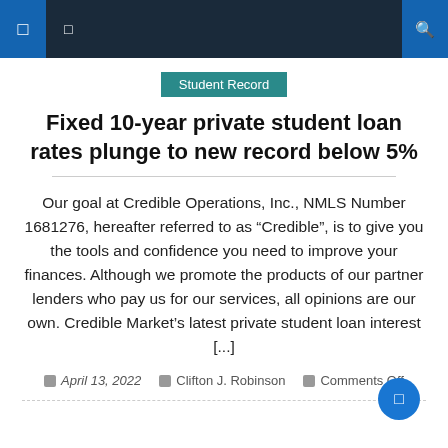Student Record — navigation bar
Student Record
Fixed 10-year private student loan rates plunge to new record below 5%
Our goal at Credible Operations, Inc., NMLS Number 1681276, hereafter referred to as “Credible”, is to give you the tools and confidence you need to improve your finances. Although we promote the products of our partner lenders who pay us for our services, all opinions are our own. Credible Market’s latest private student loan interest [...]
April 13, 2022   Clifton J. Robinson   Comments Off